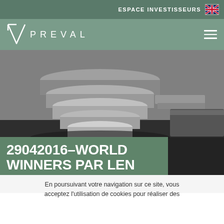ESPACE INVESTISSEURS
[Figure (logo): PREVAL company logo with triangular V symbol in white on sage green background]
[Figure (photo): Black and white close-up photo of stacked concrete or stone slabs, showing multiple cylindrical/rectangular shapes from above]
29042016-WORLD WINNERS PAR LEN
En poursuivant votre navigation sur ce site, vous acceptez l'utilisation de cookies pour réaliser des